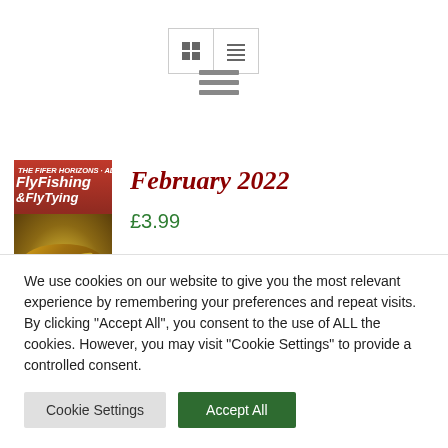[Figure (screenshot): View toggle buttons (grid and list) and hamburger menu icon]
[Figure (photo): Fly Fishing & Fly Tying magazine cover - February 2022, showing a fly fishing lure]
February 2022
£3.99
We use cookies on our website to give you the most relevant experience by remembering your preferences and repeat visits. By clicking "Accept All", you consent to the use of ALL the cookies. However, you may visit "Cookie Settings" to provide a controlled consent.
Cookie Settings
Accept All